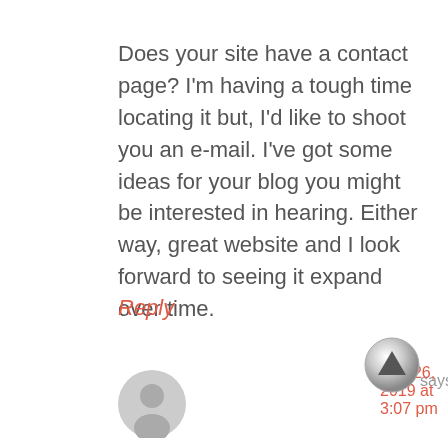Does your site have a contact page? I'm having a tough time locating it but, I'd like to shoot you an e-mail. I've got some ideas for your blog you might be interested in hearing. Either way, great website and I look forward to seeing it expand over time.
Reply
[Figure (other): Gray circular user avatar placeholder icon]
says
July 26, 2019 at 3:07 pm
[Figure (other): Scroll to top button - circular metallic button with upward pointing triangle arrow]